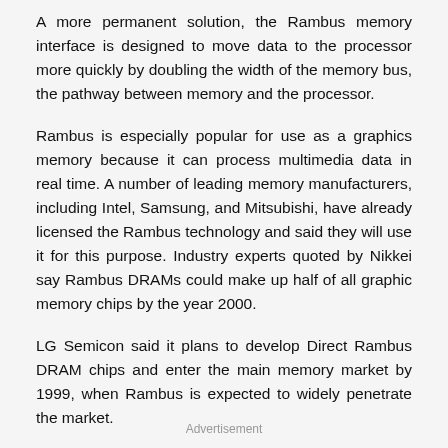A more permanent solution, the Rambus memory interface is designed to move data to the processor more quickly by doubling the width of the memory bus, the pathway between memory and the processor.
Rambus is especially popular for use as a graphics memory because it can process multimedia data in real time. A number of leading memory manufacturers, including Intel, Samsung, and Mitsubishi, have already licensed the Rambus technology and said they will use it for this purpose. Industry experts quoted by Nikkei say Rambus DRAMs could make up half of all graphic memory chips by the year 2000.
LG Semicon said it plans to develop Direct Rambus DRAM chips and enter the main memory market by 1999, when Rambus is expected to widely penetrate the market.
Advertisement